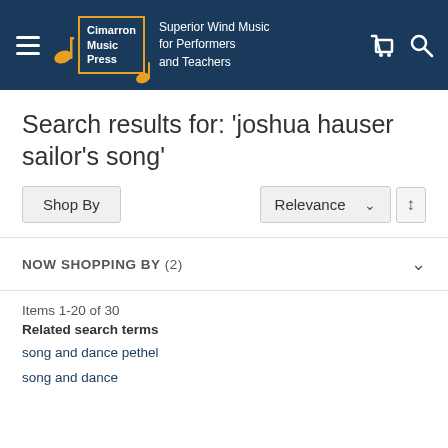Cimarron Music Press — Superior Wind Music for Performers and Teachers
Search results for: 'joshua hauser sailor's song'
Shop By
Relevance
NOW SHOPPING BY (2)
Items 1-20 of 30
Related search terms
song and dance pethel
song and dance